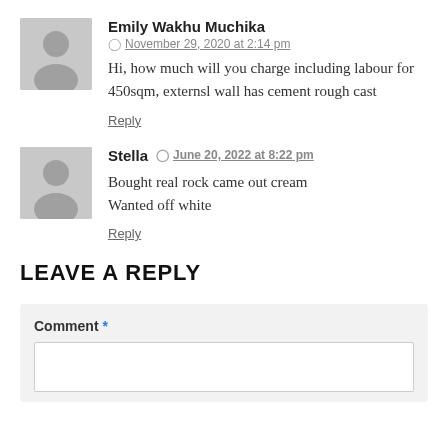Emily Wakhu Muchika — November 29, 2020 at 2:14 pm — Hi, how much will you charge including labour for 450sqm, externsl wall has cement rough cast
Reply
Stella — June 20, 2022 at 8:22 pm — Bought real rock came out cream
Wanted off white
Reply
LEAVE A REPLY
Comment *